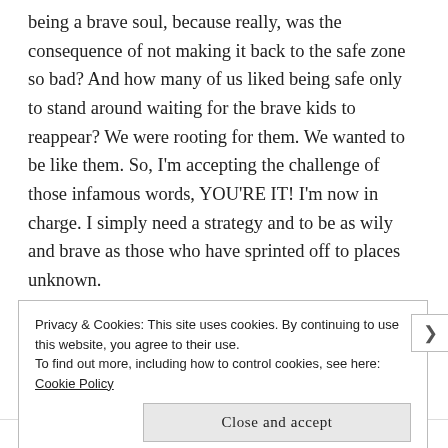being a brave soul, because really, was the consequence of not making it back to the safe zone so bad? And how many of us liked being safe only to stand around waiting for the brave kids to reappear? We were rooting for them. We wanted to be like them. So, I'm accepting the challenge of those infamous words, YOU'RE IT! I'm now in charge. I simply need a strategy and to be as wily and brave as those who have sprinted off to places unknown.

Many people have been familiar with Marianne Williamson for some time, but I've only just
Privacy & Cookies: This site uses cookies. By continuing to use this website, you agree to their use.
To find out more, including how to control cookies, see here: Cookie Policy
Close and accept